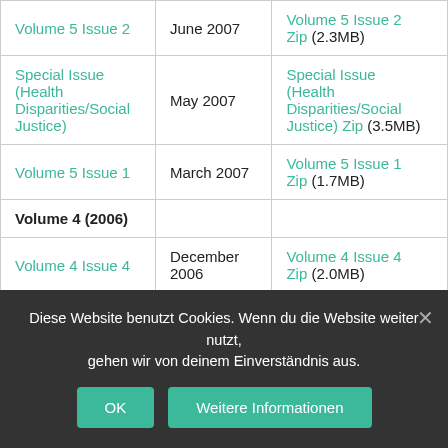| Issue | Date | Download |
| --- | --- | --- |
| Volume 5 Issue 2 | June 2007 | Volume 5 Issue 2 Zip (2.3MB) |
| Special Issue (Health Disparities/Social Justice) | May 2007 | Special Issue (Health Disparities/Social Justice) Zip (3.5MB) |
| Volume 5 Issue 1 | March 2007 | Volume 5 Issue 1 Zip (1.7MB) |
| Volume 4 (2006) |  |  |
| Volume 4 Issue 4 | December 2006 | Volume 4 Issue 4 Zip (2.0MB) |
| Volume 4 Issue 3 (partial) | September | Volume 4 Issue 3 |
Diese Website benutzt Cookies. Wenn du die Website weiter nutzt, gehen wir von deinem Einverständnis aus.